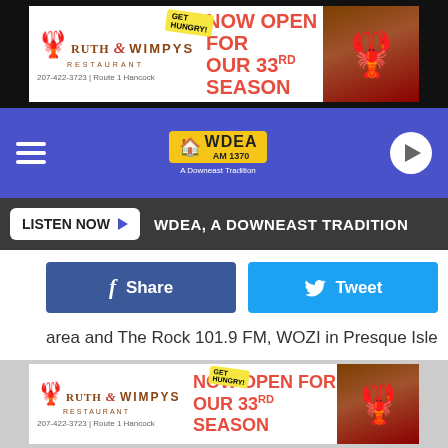[Figure (other): Ruth & Wimpy's Restaurant advertisement banner. NOW OPEN FOR OUR 33RD SEASON. 207-422-3723 | Route 1 Hancock. GET HUNGRY! with lobster image.]
[Figure (logo): WDEA AM 1370 A Downeast Tradition radio station logo with lighthouse graphic on blue navigation bar with hamburger menu and play button.]
[Figure (other): LISTEN NOW button with play arrow, followed by text: WDEA, A DOWNEAST TRADITION on dark grey bar.]
[Figure (other): Facebook Share button (dark blue) and Twitter Tweet button (light blue) social sharing buttons.]
area and The Rock 101.9 FM, WOZI in Presque Isle
About The Sponsor
[Figure (other): Ruth & Wimpy's Restaurant advertisement banner at bottom. NOW OPEN FOR OUR 33RD SEASON. 207-422-3723 | Route 1 Hancock. GET HUNGRY! with lobster image.]